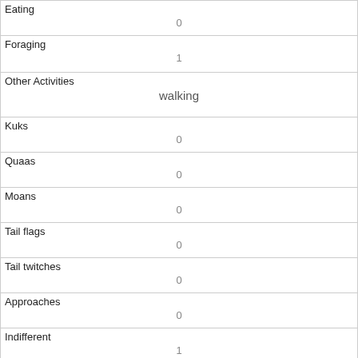| Eating | 0 |
| Foraging | 1 |
| Other Activities | walking |
| Kuks | 0 |
| Quaas | 0 |
| Moans | 0 |
| Tail flags | 0 |
| Tail twitches | 0 |
| Approaches | 0 |
| Indifferent | 1 |
| Runs from |  |